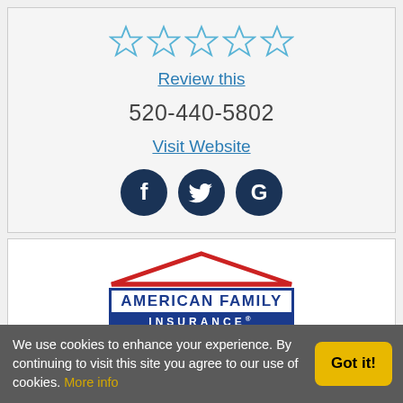[Figure (other): Five empty star rating icons in light blue outline]
Review this
520-440-5802
Visit Website
[Figure (other): Three dark navy social media icons: Facebook, Twitter, Google]
[Figure (logo): American Family Insurance logo with red roof graphic, blue bordered text block reading AMERICAN FAMILY INSURANCE with registration mark, and InsureLocalAZ.com in red italic below]
We use cookies to enhance your experience. By continuing to visit this site you agree to our use of cookies. More info